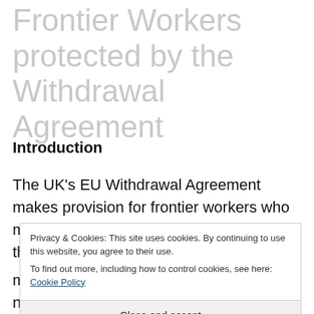Frontier Workers protected by the Withdrawal Agreement
Introduction
The UK's EU Withdrawal Agreement makes provision for frontier workers who move back and forth between the EU and the UK before the end of the transition period on 31 December 2020. Workers who are frontier workers have rights of free movement under the EU Treaties and need no
Privacy & Cookies: This site uses cookies. By continuing to use this website, you agree to their use.
To find out more, including how to control cookies, see here: Cookie Policy
Close and accept
movement under the EU Treaties and need no